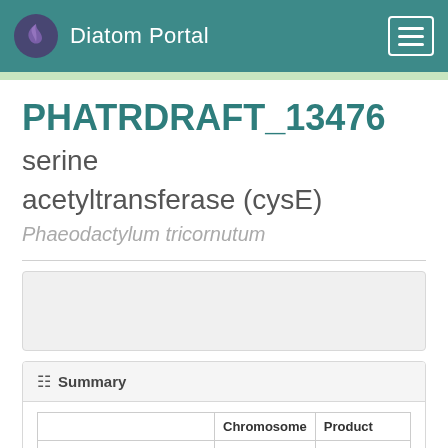Diatom Portal
PHATRDRAFT_13476 serine acetyltransferase (cysE)
Phaeodactylum tricornutum
Summary
|  | Chromosome | Product |
| --- | --- | --- |
| PHATRDRAFT_13476 | chr_11 | serine acetyltrans |